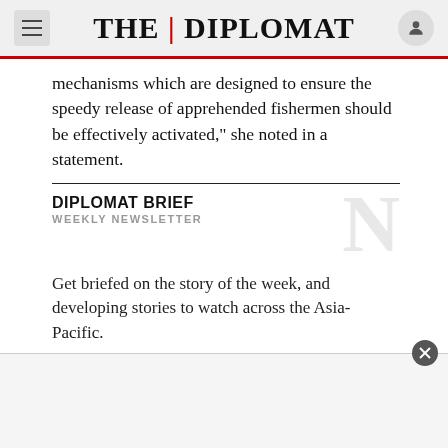THE DIPLOMAT
mechanisms which are designed to ensure the speedy release of apprehended fishermen should be effectively activated,” she noted in a statement.
DIPLOMAT BRIEF
WEEKLY NEWSLETTER
Get briefed on the story of the week, and developing stories to watch across the Asia-Pacific.
GET THE NEWSLETTER
[Figure (other): Advertisement placeholder area at bottom of page with close button]